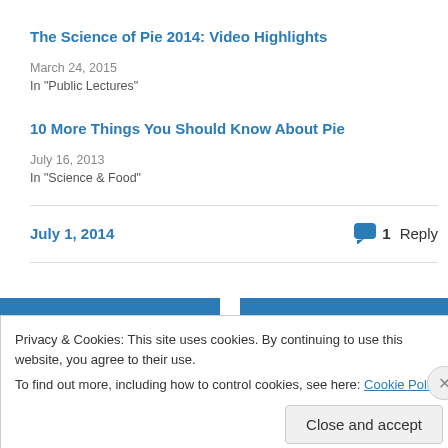The Science of Pie 2014: Video Highlights
March 24, 2015
In "Public Lectures"
10 More Things You Should Know About Pie
July 16, 2013
In "Science & Food"
July 1, 2014
1 Reply
Privacy & Cookies: This site uses cookies. By continuing to use this website, you agree to their use.
To find out more, including how to control cookies, see here: Cookie Policy
Close and accept